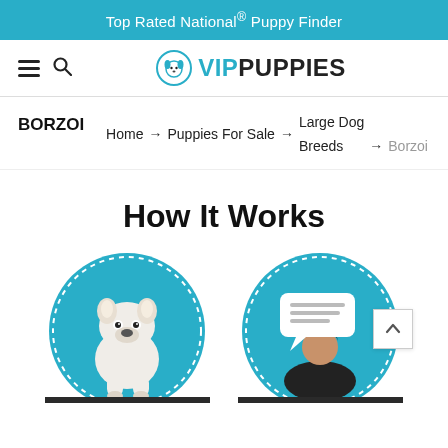Top Rated National® Puppy Finder
[Figure (logo): VIP Puppies logo with dog face icon and text VIPPUPPIES in teal and black]
BORZOI   Home → Puppies For Sale → Large Dog Breeds → Borzoi
How It Works
[Figure (illustration): Two circular teal icons with dotted borders: left shows a white French Bulldog puppy illustration, right shows a person with a speech/message bubble illustration. Below each circle is a dark bar partially visible.]